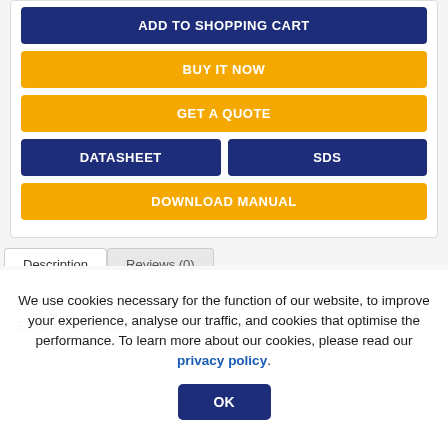ADD TO SHOPPING CART
BUY IT NOW
GET A QUOTE
DATASHEET
SDS
DOWNLOAD MANUAL
Description
Reviews (0)
Human Glutamate-rich protein 2 (ERICH2) ELISA Kit is an ELISA Kit for the in vitro quantitative
We use cookies necessary for the function of our website, to improve your experience, analyse our traffic, and cookies that optimise the performance. To learn more about our cookies, please read our privacy policy.
OK